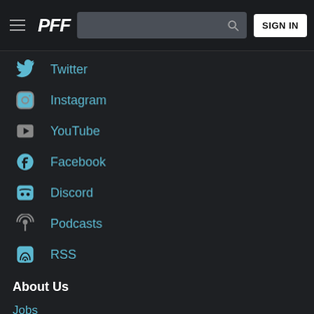PFF | SIGN IN
Twitter
Instagram
YouTube
Facebook
Discord
Podcasts
RSS
About Us
Jobs
Media & Partnerships
Teams & Media Services
Agency Services
Customer Service